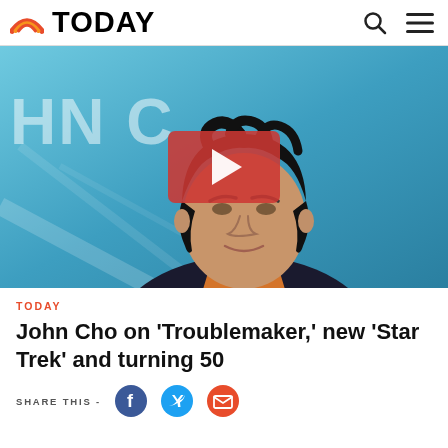TODAY
[Figure (photo): John Cho photographed against a blue background with 'JOHN C' text visible. A red video play button overlay is centered on the image.]
TODAY
John Cho on 'Troublemaker,' new 'Star Trek' and turning 50
SHARE THIS -